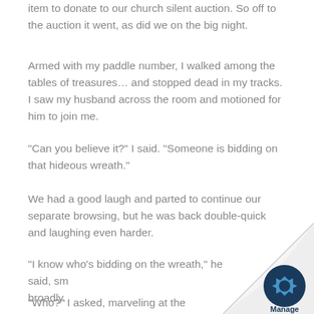item to donate to our church silent auction. So off to the auction it went, as did we on the big night.
Armed with my paddle number, I walked among the tables of treasures… and stopped dead in my tracks. I saw my husband across the room and motioned for him to join me.
“Can you believe it?” I said. “Someone is bidding on that hideous wreath.”
We had a good laugh and parted to continue our separate browsing, but he was back double-quick and laughing even harder.
“I know who’s bidding on the wreath,” he said, sm… broadly.
“Who?” I asked, marveling at the person’s ba…
[Figure (logo): Page curl with Manage logo in the bottom-right corner]